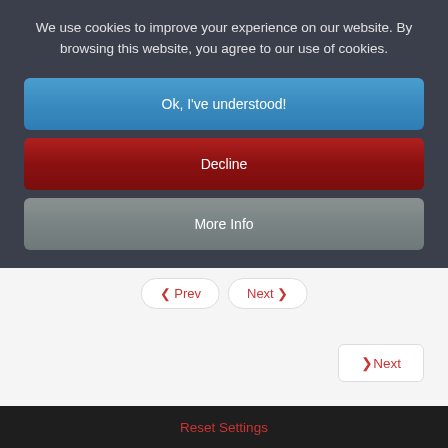We use cookies to improve your experience on our website. By browsing this website, you agree to our use of cookies.
Ok, I've understood!
Decline
More Info
❮ Prev
Next ❯
❯Next
Reset Settings